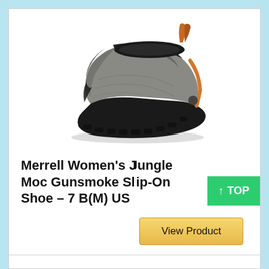[Figure (photo): A gray Merrell slip-on shoe (Jungle Moc Gunsmoke) photographed at an angle showing the right shoe from the left side, with black rubber sole, orange accent pull tab at heel, and orange stripe on the side.]
Merrell Women’s Jungle Moc Gunsmoke Slip-On Shoe – 7 B(M) US
↑ TOP
View Product